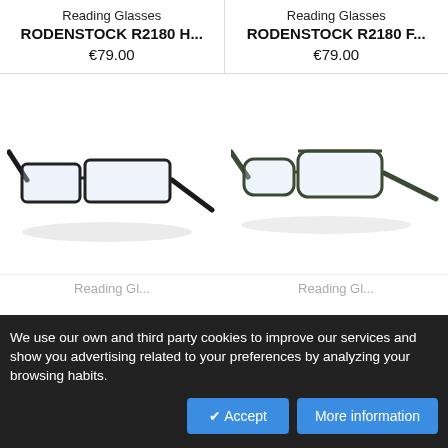Reading Glasses
RODENSTOCK R2180 H...
€79.00
Reading Glasses
RODENSTOCK R2180 F...
€79.00
[Figure (photo): Reading glasses Rodenstock R2180 H — dark/black slim frame, angled side view, left product]
[Figure (photo): Reading glasses Rodenstock R2180 F — dark/olive slim frame, side view, right product]
Reading Gl...
Reading Gl...
We use our own and third party cookies to improve our services and show you advertising related to your preferences by analyzing your browsing habits.